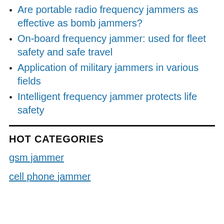Are portable radio frequency jammers as effective as bomb jammers?
On-board frequency jammer: used for fleet safety and safe travel
Application of military jammers in various fields
Intelligent frequency jammer protects life safety
HOT CATEGORIES
gsm jammer
cell phone jammer